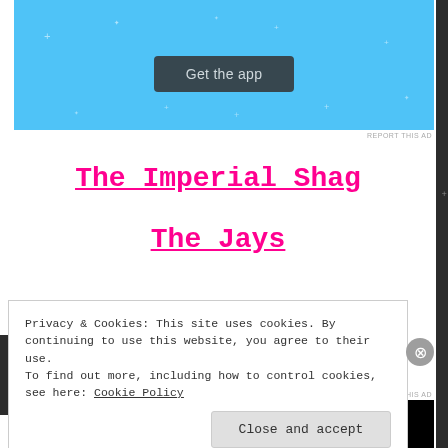[Figure (screenshot): Blue app advertisement banner with 'Get the app' dark button centered, with decorative star/plus symbols on blue background]
REPORT THIS AD
The Imperial Shag
The Jays
Privacy & Cookies: This site uses cookies. By continuing to use this website, you agree to their use.
To find out more, including how to control cookies, see here: Cookie Policy
Close and accept
[Figure (screenshot): Bottom advertisement banner with orange/red left half and black right half]